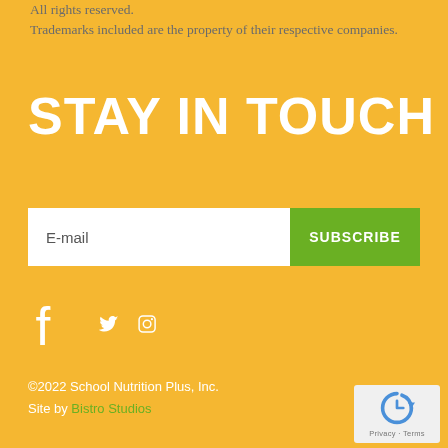All rights reserved. Trademarks included are the property of their respective companies.
STAY IN TOUCH
E-mail  SUBSCRIBE
[Figure (illustration): Social media icons: Facebook, Twitter, Instagram in white on yellow background]
©2022 School Nutrition Plus, Inc. Site by Bistro Studios